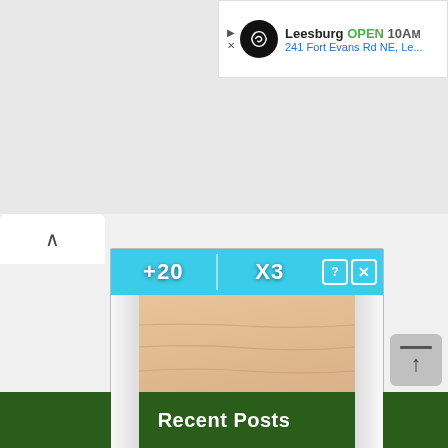[Figure (screenshot): Advertisement banner showing Leesburg location with logo, OPEN status, hours (10AM), and address (241 Fort Evans Rd NE)]
[Figure (screenshot): Mobile game advertisement showing a 3D sand arena with two cyan stick figures, a score/multiplier bar showing +20 and X3, close and help buttons, a badge showing '3', and text 'Hold and Move' at the bottom]
Hold and Move
Recent Posts